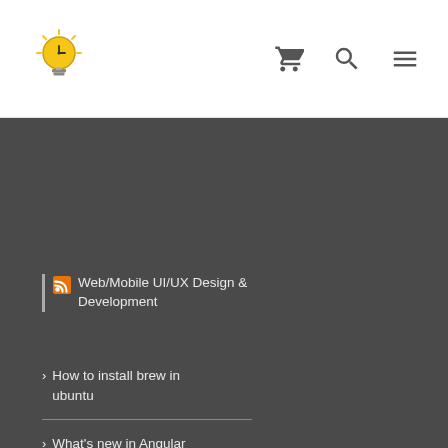Logo and navigation header with cart, search, and menu icons
[Figure (logo): Yellow lightbulb/clock logo icon]
Web/Mobile UI/UX Design & Development
How to install brew in ubuntu
What's new in Angular 9
Design Modern GUI Apps in VB.Net-for Left